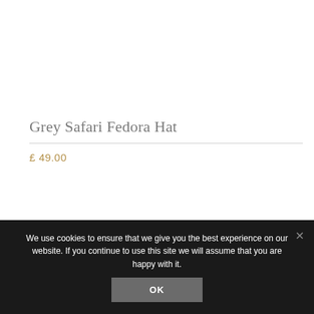Grey Safari Fedora Hat
£ 49.00
We use cookies to ensure that we give you the best experience on our website. If you continue to use this site we will assume that you are happy with it.
OK